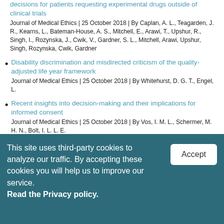decisions for patients requesting experimental drugs outside of clinical trials
Journal of Medical Ethics | 25 October 2018 | By Caplan, A. L., Teagarden, J. R., Kearns, L., Bateman-House, A. S., Mitchell, E., Arawi, T., Upshur, R., Singh, I., Rozynska, J., Cwik, V., Gardner, S. L., Mitchell, Arawi, Upshur, Singh, Rozynska, Cwik, Gardner
Disability discrimination and misdirected criticism of the quality-adjusted life year framework
Journal of Medical Ethics | 25 October 2018 | By Whitehurst, D. G. T., Engel, L.
Recent insights into decision-making and their implications for informed consent
Journal of Medical Ethics | 25 October 2018 | By Vos, I. M. L., Schermer, M. H. N., Bolt, I. L. L. E.
This site uses third-party cookies to analyze our traffic. By accepting these cookies you will help us to improve our service. Read the Privacy policy.